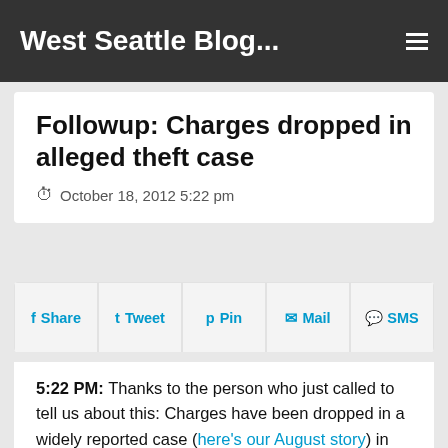West Seattle Blog...
Followup: Charges dropped in alleged theft case
October 18, 2012 5:22 pm
Share  Tweet  Pin  Mail  SMS
5:22 PM: Thanks to the person who just called to tell us about this: Charges have been dropped in a widely reported case (here's our August story) in which the King County Prosecuting Attorney's Office charged Alki resident Mary C. Park with theft, alleging that she stole money and jewelry from a Holocaust survivor for whom she worked as a caregiver. Today's dismissal is confirmed in a court document we have obtained online; since it has no victim or witness names (which WSB generally does